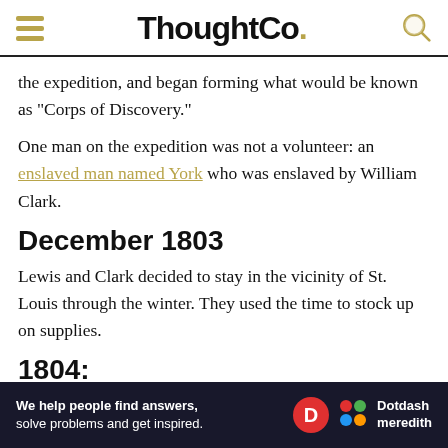ThoughtCo.
the expedition, and began forming what would be known as "Corps of Discovery."
One man on the expedition was not a volunteer: an enslaved man named York who was enslaved by William Clark.
December 1803
Lewis and Clark decided to stay in the vicinity of St. Louis through the winter. They used the time to stock up on supplies.
1804:
In 1804 the Lewis and Clark Expedition got underway, settin
[Figure (other): Dotdash Meredith advertisement banner: 'We help people find answers, solve problems and get inspired.']